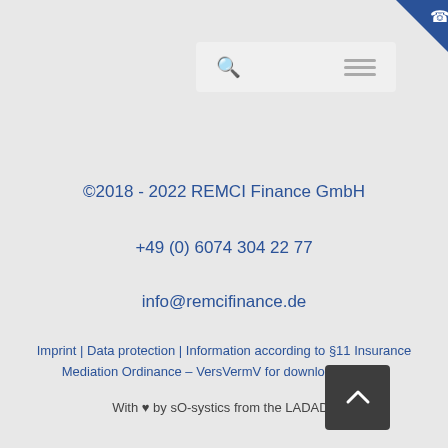[Figure (screenshot): Top navigation bar with search icon and hamburger menu on light grey background, with blue corner badge containing phone icon]
©2018 - 2022 REMCI Finance GmbH
+49 (0) 6074 304 22 77
info@remcifinance.de
Imprint | Data protection | Information according to §11 Insurance Mediation Ordinance – VersVermV for download as PDF
With ♥ by sO-systics from the LADADI.